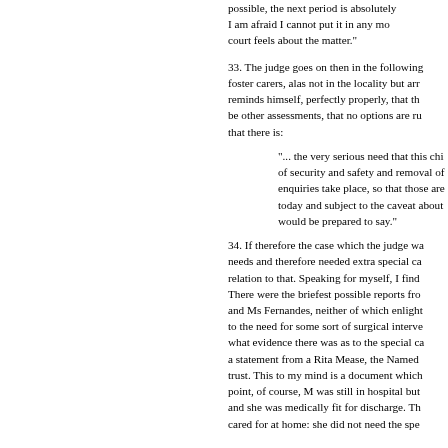possible, the next period is absolutely critical. I am afraid I cannot put it in any more clear terms. court feels about the matter."
33. The judge goes on then in the following terms about foster carers, alas not in the locality but arr... reminds himself, perfectly properly, that there will be other assessments, that no options are ru... that there is:
"... the very serious need that this chi... of security and safety and removal of... enquiries take place, so that those are... today and subject to the caveat about... would be prepared to say."
34. If therefore the case which the judge wa... needs and therefore needed extra special ca... relation to that. Speaking for myself, I find... There were the briefest possible reports fro... and Ms Fernandes, neither of which enlight... to the need for some sort of surgical interve... what evidence there was as to the special ca... a statement from a Rita Mease, the Named... trust. This to my mind is a document which... point, of course, M was still in hospital but... and she was medically fit for discharge. Th... cared for at home: she did not need the spe...